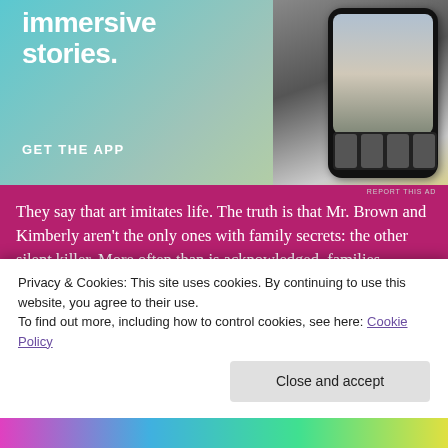[Figure (screenshot): App advertisement banner with gradient background (teal to yellow-green) showing text 'immersive stories.' and 'GET THE APP' with a phone mockup displaying a reading app interface on the right side.]
REPORT THIS AD
They say that art imitates life. The truth is that Mr. Brown and Kimberly aren't the only ones with family secrets: the other silent killer. More often than is acknowledged, families perpetuate lies and deception: choking the life out of the truth in order to spare the image of one. How many children grew up thinking that someone was their older sister only for the actual truth to be that said “sister” was actually their biological mother and who they had been thinking was their mother was actually their grandmother? How many Mr. Brown scenarios are there where people have assigned
Privacy & Cookies: This site uses cookies. By continuing to use this website, you agree to their use.
To find out more, including how to control cookies, see here: Cookie Policy
Close and accept